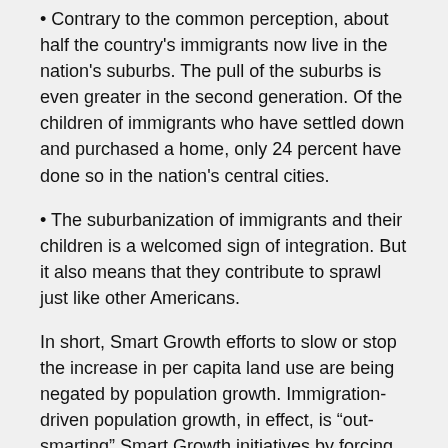Contrary to the common perception, about half the country's immigrants now live in the nation's suburbs. The pull of the suburbs is even greater in the second generation. Of the children of immigrants who have settled down and purchased a home, only 24 percent have done so in the nation's central cities.
The suburbanization of immigrants and their children is a welcomed sign of integration. But it also means that they contribute to sprawl just like other Americans.
In short, Smart Growth efforts to slow or stop the increase in per capita land use are being negated by population growth. Immigration-driven population growth, in effect, is “out-smarting” Smart Growth initiatives by forcing continued rural land destruction.
What makes this study different from most of the research on sprawl is its focus on the destruction of undeveloped rural land. While concern over the loss of